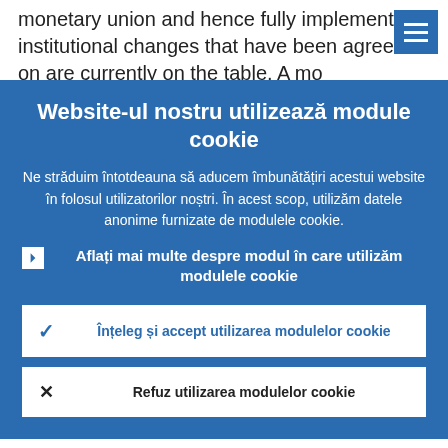monetary union and hence fully implement the institutional changes that have been agreed on are currently on the table. A mo...
Website-ul nostru utilizează module cookie
Ne străduim întotdeauna să aducem îmbunătățiri acestui website în folosul utilizatorilor noștri. În acest scop, utilizăm datele anonime furnizate de modulele cookie.
Aflați mai multe despre modul în care utilizăm modulele cookie
Înțeleg și accept utilizarea modulelor cookie
Refuz utilizarea modulelor cookie